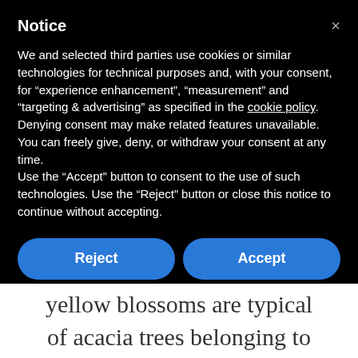Notice
We and selected third parties use cookies or similar technologies for technical purposes and, with your consent, for “experience enhancement”, “measurement” and “targeting & advertising” as specified in the cookie policy. Denying consent may make related features unavailable.
You can freely give, deny, or withdraw your consent at any time.
Use the “Accept” button to consent to the use of such technologies. Use the “Reject” button or close this notice to continue without accepting.
Reject
Accept
Learn more and customize
yellow blossoms are typical of acacia trees belonging to